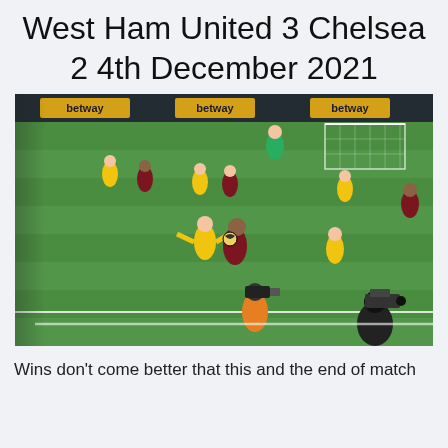West Ham United 3 Chelsea 2 4th December 2021
[Figure (photo): Football match action photo showing players from West Ham United (maroon/claret) and Chelsea (yellow away kit) contesting the ball on the pitch at London Stadium, with advertising hoardings for betway visible in the background, and a cameraman in the foreground.]
Wins don't come better that this and the end of match